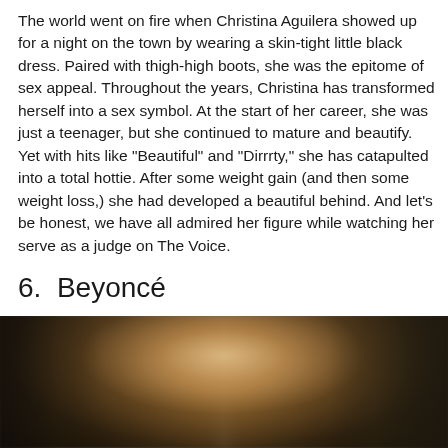The world went on fire when Christina Aguilera showed up for a night on the town by wearing a skin-tight little black dress. Paired with thigh-high boots, she was the epitome of sex appeal. Throughout the years, Christina has transformed herself into a sex symbol. At the start of her career, she was just a teenager, but she continued to mature and beautify. Yet with hits like “Beautiful” and “Dirrrty,” she has catapulted into a total hottie. After some weight gain (and then some weight loss,) she had developed a beautiful behind. And let’s be honest, we have all admired her figure while watching her serve as a judge on The Voice.
6.  Beyoncé
[Figure (photo): A blurred photograph of a blonde woman (Beyoncé) at what appears to be a red carpet or event, with dark figures visible in the background on both sides.]